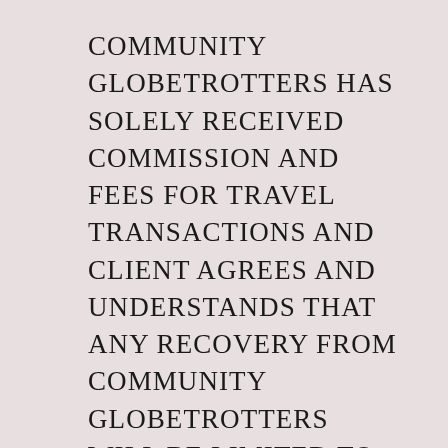COMMUNITY GLOBETROTTERS HAS SOLELY RECEIVED COMMISSION AND FEES FOR TRAVEL TRANSACTIONS AND CLIENT AGREES AND UNDERSTANDS THAT ANY RECOVERY FROM COMMUNITY GLOBETROTTERS WILL BE LIMITED TO THE AMOUNT OF